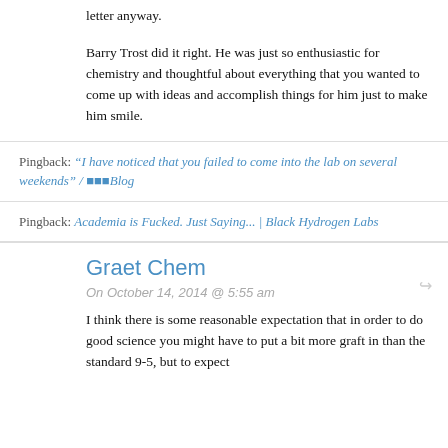letter anyway.
Barry Trost did it right. He was just so enthusiastic for chemistry and thoughtful about everything that you wanted to come up with ideas and accomplish things for him just to make him smile.
Pingback: “I have noticed that you failed to come into the lab on several weekends” / ■■■Blog
Pingback: Academia is Fucked. Just Saying... | Black Hydrogen Labs
Graet Chem
On October 14, 2014 @ 5:55 am
I think there is some reasonable expectation that in order to do good science you might have to put a bit more graft in than the standard 9-5, but to expect